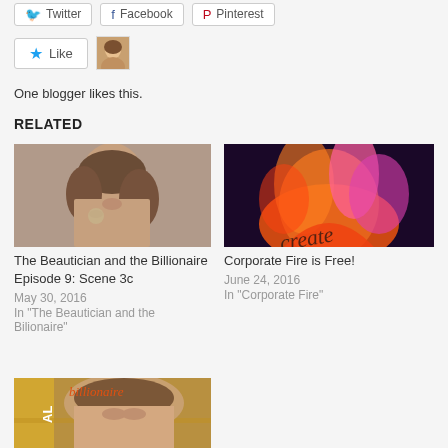[Figure (screenshot): Social share buttons: Twitter, Facebook, Pinterest]
[Figure (screenshot): Like button with star icon and blogger avatar thumbnail]
One blogger likes this.
RELATED
[Figure (photo): Young woman with dark curly hair holding a floral earring]
The Beautician and the Billionaire Episode 9: Scene 3c
May 30, 2016
In "The Beautician and the Bilionaire"
[Figure (photo): Colorful fire/flame book cover image]
Corporate Fire is Free!
June 24, 2016
In "Corporate Fire"
[Figure (photo): Partial view of a woman's face with text overlay 'Billionaire']